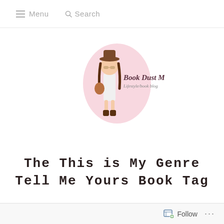Menu   Search
[Figure (logo): Book Dust Magic blog logo: cartoon girl with brown hair wearing white top and boots, standing in front of a pink oval shape with text 'Book Dust Magic' and 'Lifestyle/book blog']
The This is My Genre Tell Me Yours Book Tag
Follow ...